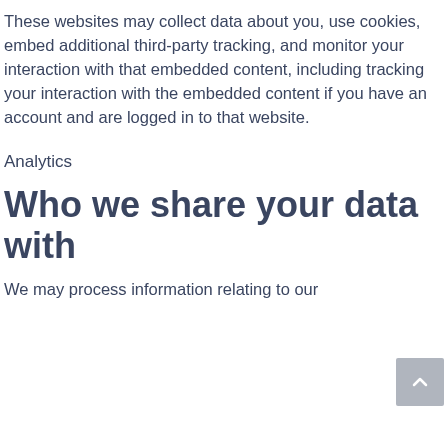These websites may collect data about you, use cookies, embed additional third-party tracking, and monitor your interaction with that embedded content, including tracking your interaction with the embedded content if you have an account and are logged in to that website.
Analytics
Who we share your data with
We may process information relating to our